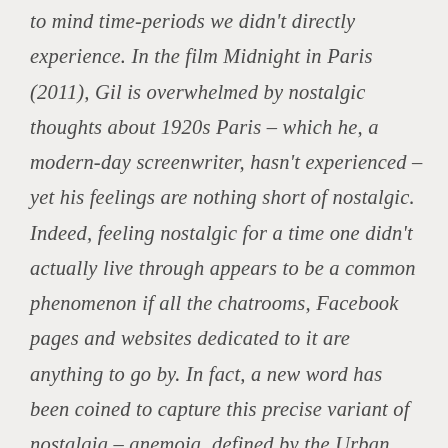to mind time-periods we didn't directly experience. In the film Midnight in Paris (2011), Gil is overwhelmed by nostalgic thoughts about 1920s Paris – which he, a modern-day screenwriter, hasn't experienced – yet his feelings are nothing short of nostalgic. Indeed, feeling nostalgic for a time one didn't actually live through appears to be a common phenomenon if all the chatrooms, Facebook pages and websites dedicated to it are anything to go by. In fact, a new word has been coined to capture this precise variant of nostalgia – anemoia, defined by the Urban Dictionary and the Dictionary of Obscure Sorrows as 'nostalgia for a time you've never